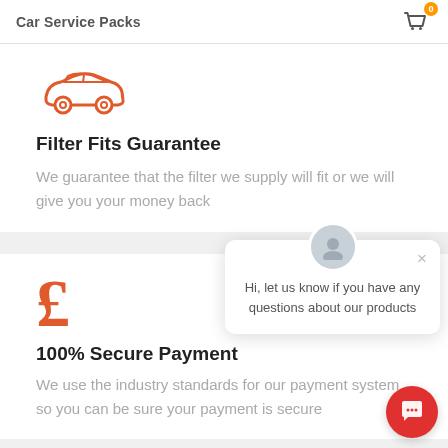Car Service Packs
[Figure (illustration): Orange car icon (side view outline)]
Filter Fits Guarantee
We guarantee that the filter we supply will fit or we will give you your money back
[Figure (illustration): Orange pound sterling (£) currency symbol icon]
100% Secure Payment
We use the industry standards for our payment system so you can be sure your payment is secure
Hi, let us know if you have any questions about our products